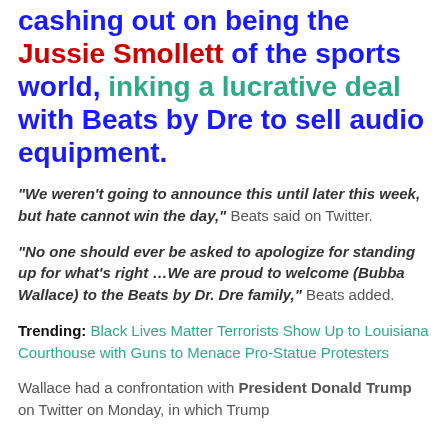cashing out on being the Jussie Smollett of the sports world, inking a lucrative deal with Beats by Dre to sell audio equipment.
“We weren’t going to announce this until later this week, but hate cannot win the day,” Beats said on Twitter.
“No one should ever be asked to apologize for standing up for what’s right …We are proud to welcome (Bubba Wallace) to the Beats by Dr. Dre family,” Beats added.
Trending: Black Lives Matter Terrorists Show Up to Louisiana Courthouse with Guns to Menace Pro-Statue Protesters
Wallace had a confrontation with President Donald Trump on Twitter on Monday, in which Trump